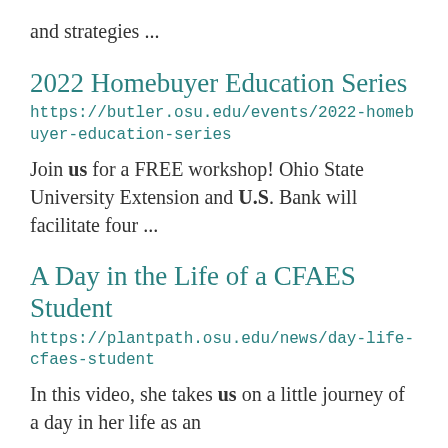and strategies ...
2022 Homebuyer Education Series
https://butler.osu.edu/events/2022-homebuyer-education-series
Join us for a FREE workshop! Ohio State University Extension and U.S. Bank will facilitate four ...
A Day in the Life of a CFAES Student
https://plantpath.osu.edu/news/day-life-cfaes-student
In this video, she takes us on a little journey of a day in her life as an